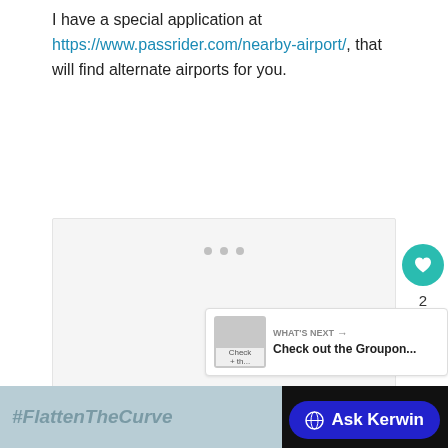I have a special application at https://www.passrider.com/nearby-airport/, that will find alternate airports for you.
[Figure (screenshot): Loading placeholder with three gray dots, representing an embedded image or media content loading area]
[Figure (screenshot): Social sidebar with teal heart/like button showing count of 2 and a share button]
[Figure (screenshot): What's Next box showing a Groupon promo thumbnail with text 'WHAT'S NEXT → Check out the Groupon...']
[Figure (screenshot): Bottom advertisement bar with #FlattenTheCurve text and Ask Kerwin button in dark blue]